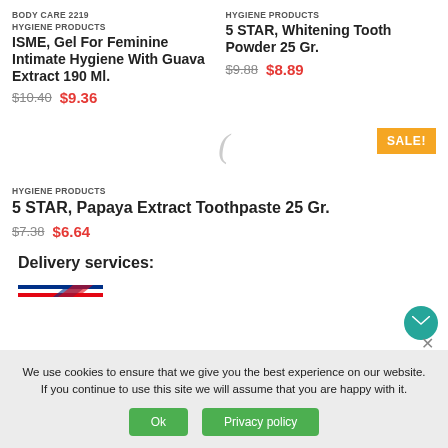BODY CARE 2219
HYGIENE PRODUCTS
ISME, Gel For Feminine Intimate Hygiene With Guava Extract 190 Ml.
$10.40  $9.36
HYGIENE PRODUCTS
5 STAR, Whitening Tooth Powder 25 Gr.
$9.88  $8.89
SALE!
HYGIENE PRODUCTS
5 STAR, Papaya Extract Toothpaste 25 Gr.
$7.38  $6.64
Delivery services:
We use cookies to ensure that we give you the best experience on our website. If you continue to use this site we will assume that you are happy with it.